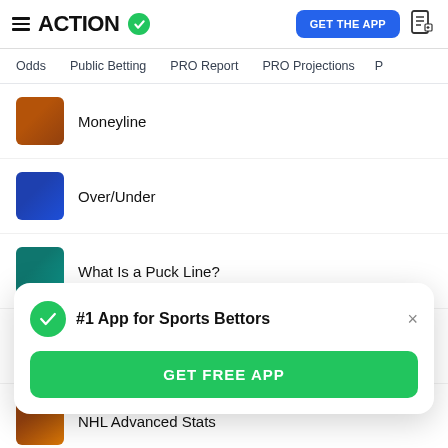ACTION (with checkmark) | GET THE APP
Odds | Public Betting | PRO Report | PRO Projections
Moneyline
Over/Under
What Is a Puck Line?
9 Tips for Betting Hockey
NHL Advanced Stats
#1 App for Sports Bettors
GET FREE APP